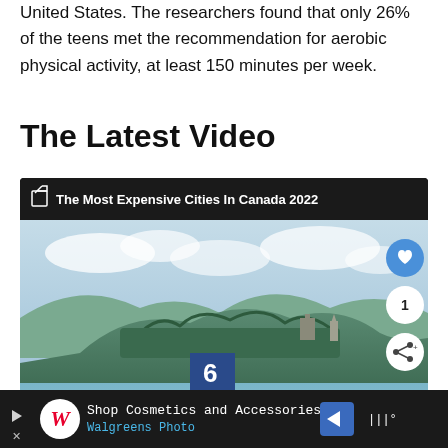United States. The researchers found that only 26% of the teens met the recommendation for aerobic physical activity, at least 150 minutes per week.
The Latest Video
[Figure (screenshot): Video card showing 'The Most Expensive Cities In Canada 2022' with a thumbnail of a lake and island landscape, showing number 6 and city name Kelowna, with like, count (1), and share buttons on the right.]
Shop Cosmetics and Accessories Walgreens Photo